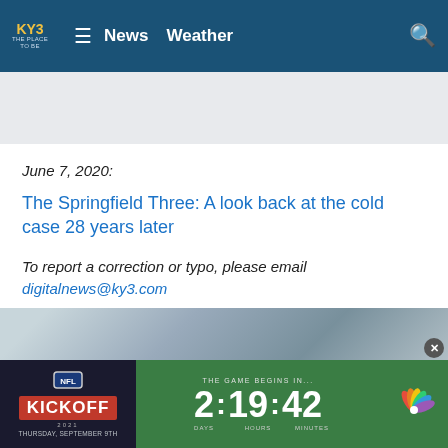KY3 THE PLACE TO BE | News  Weather
June 7, 2020:
The Springfield Three: A look back at the cold case 28 years later
To report a correction or typo, please email digitalnews@ky3.com
Copyright 2021 KY3. All rights reserved.
[Figure (screenshot): Taboola Feed branding label]
[Figure (photo): Bottom portion of article page showing a car photo strip and NFL Kickoff Thursday countdown banner with 2:19:42 days/hours/minutes and NBC peacock logo]